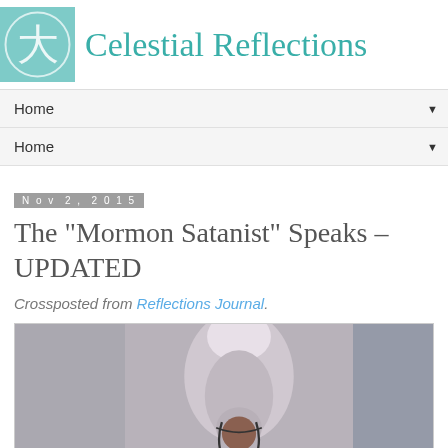Celestial Reflections
Home
Home
Nov 2, 2015
The "Mormon Satanist" Speaks – UPDATED
Crossposted from Reflections Journal.
[Figure (photo): Photo of a person with a white/grey horse, partially cropped, grey background panels on each side]